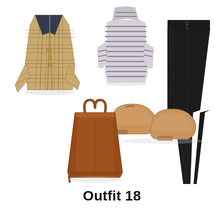[Figure (photo): Flat-lay fashion collage showing: a tan/brown plaid double-breasted blazer (top left), a grey striped turtleneck sweater (top center), black skinny jeans with button fly (right), tan leather loafer shoes (center), and a brown leather tote bag with crossbody strap (bottom left center). White background.]
Outfit 18
[Figure (photo): Partial view of a tan/camel colored sweater (cropped at bottom of page)]